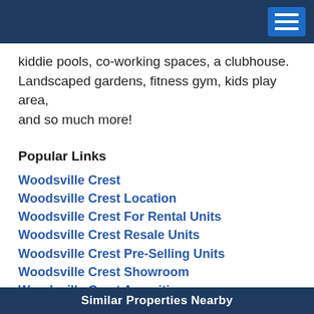kiddie pools, co-working spaces, a clubhouse. Landscaped gardens, fitness gym, kids play area, and so much more!
Popular Links
Woodsville Crest
Woodsville Crest Location
Woodsville Crest For Rental Units
Woodsville Crest Resale Units
Woodsville Crest Pre-Selling Units
Woodsville Crest Showroom
Woodsville Crest Amenities
Woodsville Crest Price
Woodsville Crest Contact
Similar Properties Nearby